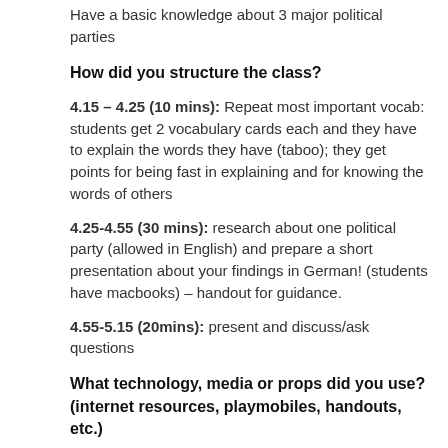Have a basic knowledge about 3 major political parties
How did you structure the class?
4.15 – 4.25 (10 mins): Repeat most important vocab: students get 2 vocabulary cards each and they have to explain the words they have (taboo); they get points for being fast in explaining and for knowing the words of others
4.25-4.55 (30 mins): research about one political party (allowed in English) and prepare a short presentation about your findings in German! (students have macbooks) – handout for guidance.
4.55-5.15 (20mins): present and discuss/ask questions
What technology, media or props did you use? (internet resources, playmobiles, handouts, etc.)